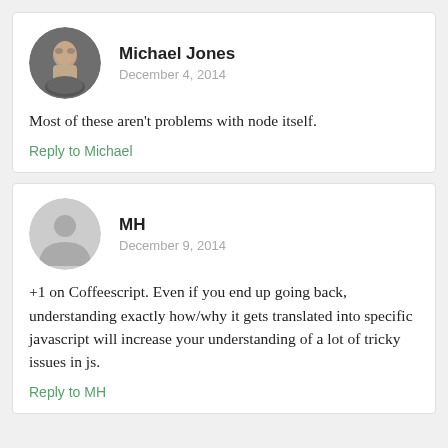Michael Jones
December 4, 2014
Most of these aren't problems with node itself.
Reply to Michael
MH
December 9, 2014
+1 on Coffeescript. Even if you end up going back, understanding exactly how/why it gets translated into specific javascript will increase your understanding of a lot of tricky issues in js.
Reply to MH